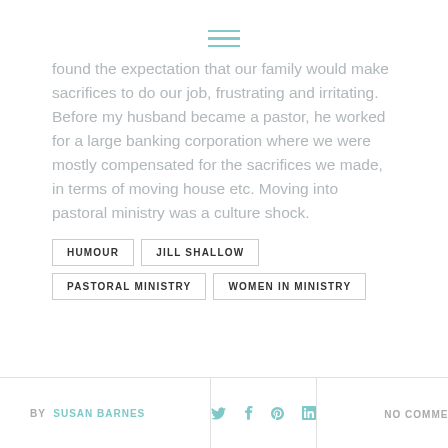hamburger menu icon
found the expectation that our family would make sacrifices to do our job, frustrating and irritating. Before my husband became a pastor, he worked for a large banking corporation where we were mostly compensated for the sacrifices we made, in terms of moving house etc. Moving into pastoral ministry was a culture shock.
HUMOUR
JILL SHALLOW
PASTORAL MINISTRY
WOMEN IN MINISTRY
BY SUSAN BARNES   NO COMMENT